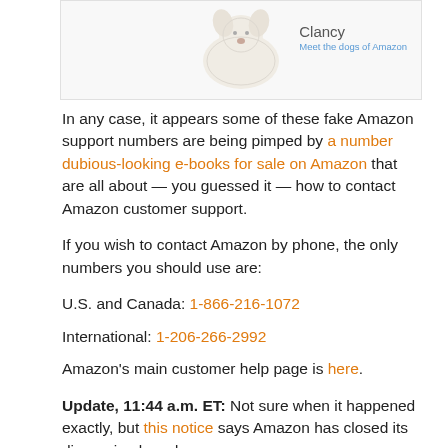[Figure (photo): Photo of a fluffy white dog (Clancy) with text 'Clancy / Meet the dogs of Amazon' in the top right corner]
In any case, it appears some of these fake Amazon support numbers are being pimped by a number dubious-looking e-books for sale on Amazon that are all about — you guessed it — how to contact Amazon customer support.
If you wish to contact Amazon by phone, the only numbers you should use are:
U.S. and Canada: 1-866-216-1072
International: 1-206-266-2992
Amazon's main customer help page is here.
Update, 11:44 a.m. ET: Not sure when it happened exactly, but this notice says Amazon has closed its discussion boards.